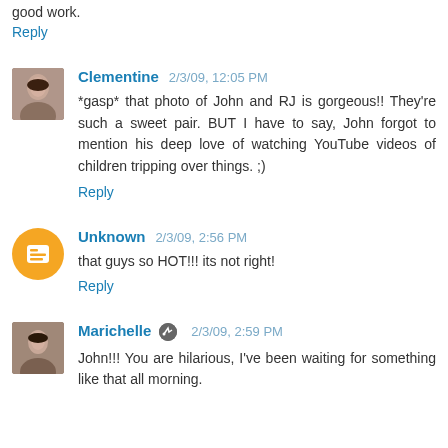good work.
Reply
Clementine 2/3/09, 12:05 PM
*gasp* that photo of John and RJ is gorgeous!! They're such a sweet pair. BUT I have to say, John forgot to mention his deep love of watching YouTube videos of children tripping over things. ;)
Reply
Unknown 2/3/09, 2:56 PM
that guys so HOT!!! its not right!
Reply
Marichelle 2/3/09, 2:59 PM
John!!! You are hilarious, I've been waiting for something like that all morning.